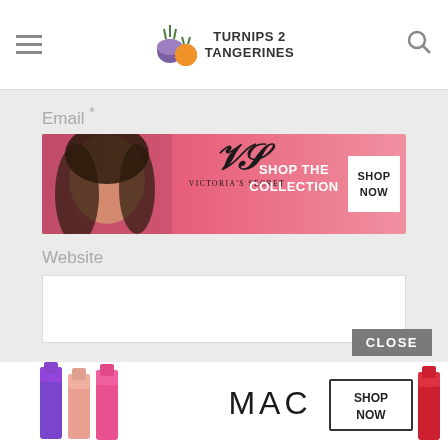Turnips 2 Tangerines
Email *
[Figure (infographic): Victoria's Secret advertisement banner: pink background with model, VS logo, text 'SHOP THE COLLECTION', and 'SHOP NOW' button]
Website
[Figure (infographic): Empty website text input field]
POST COMMENT
CLOSE
[Figure (infographic): MAC cosmetics advertisement banner: lipsticks (purple, pink, red), MAC logo text, 'SHOP NOW' button]